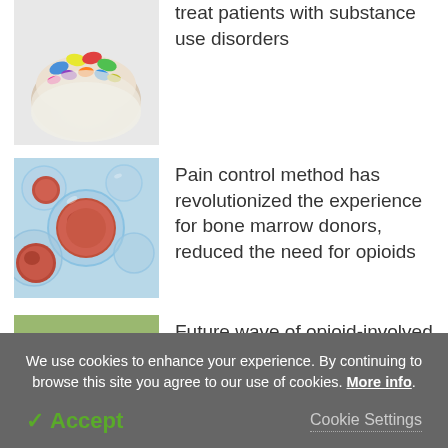[Figure (photo): Hands in white gloves holding colorful pills and capsules]
treat patients with substance use disorders
[Figure (photo): Microscopic view of red blood cells or bone marrow cells in bubbles]
Pain control method has revolutionized the experience for bone marrow donors, reduced the need for opioids
[Figure (photo): Poppy seed pods in a field]
Future wave of opioid-involved overdose deaths will spike in rural and urban areas
We use cookies to enhance your experience. By continuing to browse this site you agree to our use of cookies. More info.
✓ Accept
Cookie Settings